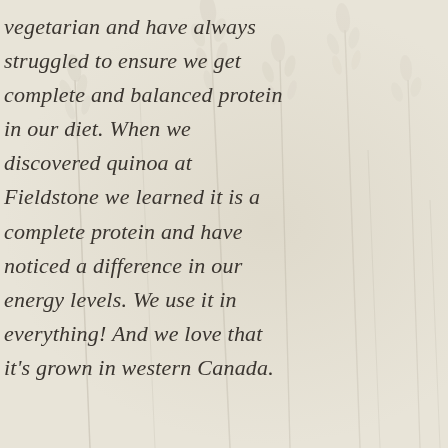vegetarian and have always struggled to ensure we get complete and balanced protein in our diet. When we discovered quinoa at Fieldstone we learned it is a complete protein and have noticed a difference in our energy levels. We use it in everything! And we love that it's grown in western Canada.